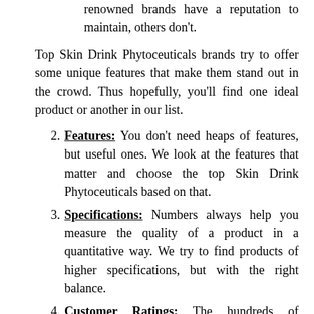renowned brands have a reputation to maintain, others don't.
Top Skin Drink Phytoceuticals brands try to offer some unique features that make them stand out in the crowd. Thus hopefully, you'll find one ideal product or another in our list.
Features: You don't need heaps of features, but useful ones. We look at the features that matter and choose the top Skin Drink Phytoceuticals based on that.
Specifications: Numbers always help you measure the quality of a product in a quantitative way. We try to find products of higher specifications, but with the right balance.
Customer Ratings: The hundreds of customers using the Skin Drink Phytoceuticals before you won't say